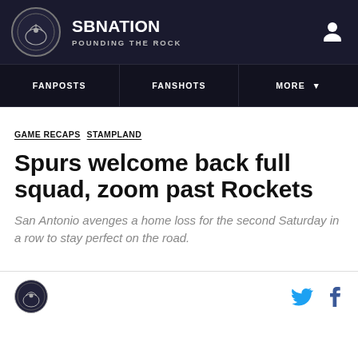SB NATION | POUNDING THE ROCK
FANPOSTS | FANSHOTS | MORE
GAME RECAPS  STAMPLAND
Spurs welcome back full squad, zoom past Rockets
San Antonio avenges a home loss for the second Saturday in a row to stay perfect on the road.